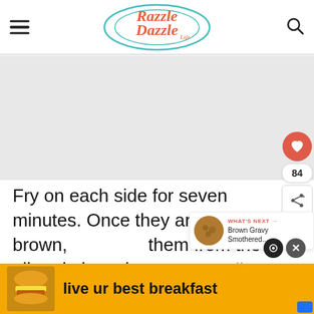[Figure (logo): Razzle Dazzle Life logo — stylized text in coral/red with circular teal border]
Fry on each side for seven minutes. Once they are golden brown, remove them from the oil and place them on a cooling rack to get rid of...
[Figure (infographic): What's Next widget showing Brown Gravy Smothered... with food thumbnail]
[Figure (photo): Advertisement banner: 'live ur best breakfast' with McDonald's breakfast sandwich image on yellow background]